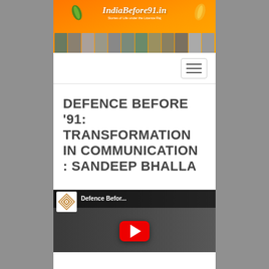[Figure (logo): IndiaBefore91.in website banner with orange gradient background, logo text, tagline 'Stories of Life under the Licence Raj', decorative leaves, and a strip of historical photo thumbnails]
[Figure (screenshot): Navigation bar with hamburger menu button on white background]
DEFENCE BEFORE '91: TRANSFORMATION IN COMMUNICATION : SANDEEP BHALLA
[Figure (screenshot): YouTube video thumbnail showing 'Defence Befor...' with channel icon, play button on dark background]